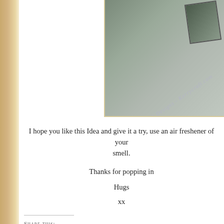[Figure (photo): Partial craft/art item photo with watermark text 'KG Designs - Kerrycraft.com' displayed diagonally]
I hope you like this Idea and give it a try, use an air freshener of your smell.
Thanks for popping in
Hugs
xx
Share this:
[Figure (infographic): Social sharing icons: Twitter, Facebook, Reddit, LinkedIn, Tumblr, Email, Pocket, Print, Blogger, Pinterest]
Like
Be the first to like this.